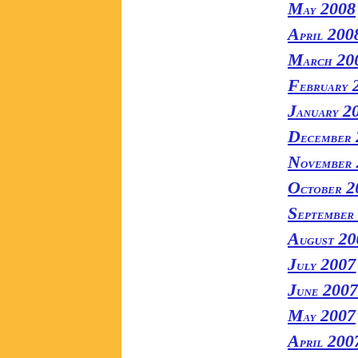[Figure (other): Gold/yellow vertical bar on left side of page]
May 2008
April 2008
March 2008
February 2008
January 2008
December 2007
November 2007
October 2007
September 2007
August 2007
July 2007
June 2007
May 2007
April 2007